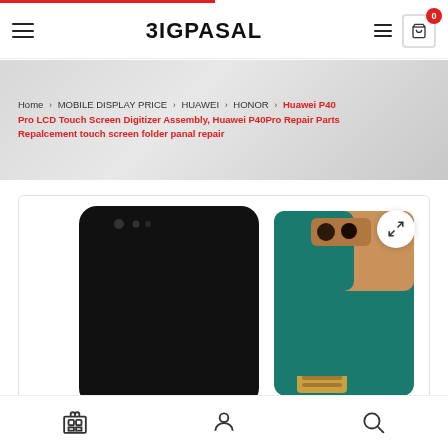BIGPASAL
Home > MOBILE DISPLAY PRICE > HUAWEI > HONOR > Huawei P40 Pro LCD Touch Screen Digitizer Assembly, Huawei P40Pro Repair Parts Repalcement touch screen folder panal repair
[Figure (photo): Product photo showing two Huawei P40 Pro LCD touch screen assemblies side by side — one showing the black front face, one showing the teal/green back with copper/gold flex ribbon connector]
Store | Account | Search